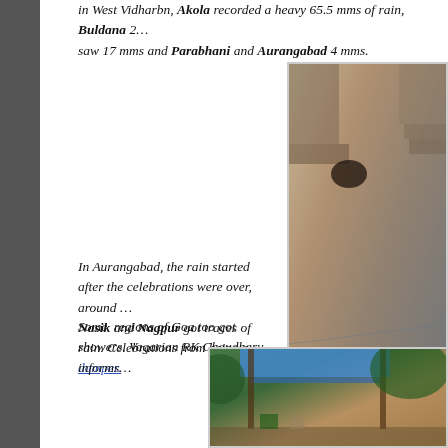in West Vidharbn, Akola recorded a heavy 65.5 mms of rain, Buldana ... saw 17 mms and Parabhani and Aurangabad 4 mms.
[Figure (photo): Flooded ground with water and debris, outdoor scene with stairs visible]
In Aurangabad, the rain started after the celebrations were over, around ... Nasik and Nagpur got traces of rain. Celebrations from being a damper.
Some regions of Goa too got showers. Vagarian RK Chaudhary informs...
[Figure (photo): Outdoor scene showing structures with blue tarpaulin roof and foliage, rain setting]